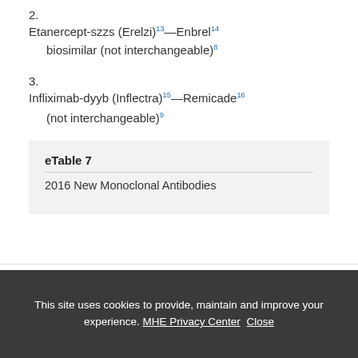2. Etanercept-szzs (Erelzi)13—Enbrel14 biosimilar (not interchangeable)8
3. Infliximab-dyyb (Inflectra)15—Remicade16 (not interchangeable)9
eTable 7
2016 New Monoclonal Antibodies
[Figure (logo): McGraw-Hill Education building/pillar logo mark]
This site uses cookies to provide, maintain and improve your experience. MHE Privacy Center Close